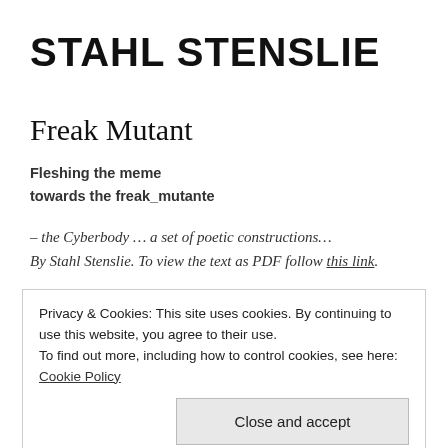STAHL STENSLIE
Freak Mutant
Fleshing the meme
towards the freak_mutante
– the Cyberbody … a set of poetic constructions…
By Stahl Stenslie. To view the text as PDF follow this link.
Privacy & Cookies: This site uses cookies. By continuing to use this website, you agree to their use.
To find out more, including how to control cookies, see here: Cookie Policy
Close and accept
mimetic “Barbie and Ken” play situations. In todays´ prosthetic